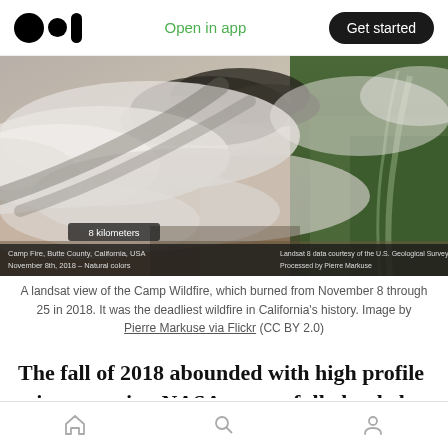Open in app | Get started
[Figure (photo): Satellite (Landsat) view of the Camp Fire in Butte County, California, USA on November 8th, 2018. Shows massive smoke plumes spreading across the landscape with green forested hills visible to the right. Labels: 'Camp Fire, Butte County, California, USA / November 8th, 2018 – Natural colors' and 'Landsat 8 data courtesy of the U.S. Geological Survey / Processed by Pierre Markuse'. Scale bar shows 8 kilometers.]
A landsat view of the Camp Wildfire, which burned from November 8 through 25 in 2018. It was the deadliest wildfire in California's history. Image by Pierre Markuse via Flickr (CC BY 2.0)
The fall of 2018 abounded with high profile science stories. NASA successfully landed the
Home | Search | Profile